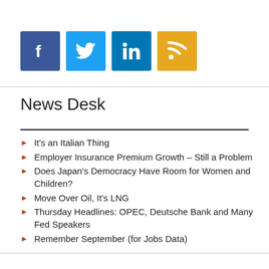[Figure (other): Social media icon buttons: Facebook (blue), Twitter (light blue), LinkedIn (dark blue), RSS (gold/yellow)]
News Desk
It's an Italian Thing
Employer Insurance Premium Growth – Still a Problem
Does Japan's Democracy Have Room for Women and Children?
Move Over Oil, It's LNG
Thursday Headlines: OPEC, Deutsche Bank and Many Fed Speakers
Remember September (for Jobs Data)